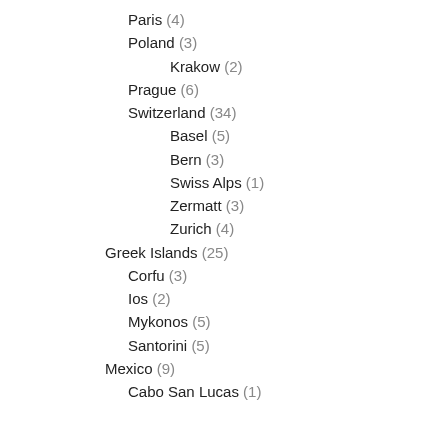Paris (4)
Poland (3)
Krakow (2)
Prague (6)
Switzerland (34)
Basel (5)
Bern (3)
Swiss Alps (1)
Zermatt (3)
Zurich (4)
Greek Islands (25)
Corfu (3)
Ios (2)
Mykonos (5)
Santorini (5)
Mexico (9)
Cabo San Lucas (1)